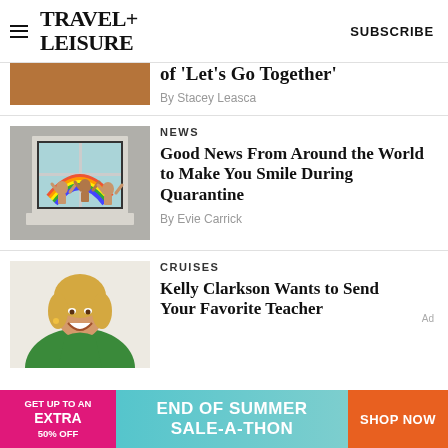TRAVEL+ LEISURE   SUBSCRIBE
of 'Let's Go Together'
By Stacey Leasca
NEWS
Good News From Around the World to Make You Smile During Quarantine
By Evie Carrick
CRUISES
Kelly Clarkson Wants to Send Your Favorite Teacher
[Figure (photo): Advertisement banner: End of Summer Sale-A-Thon with pink left panel 'GET UP TO AN EXTRA 50% OFF', teal center 'END OF SUMMER SALE-A-THON', orange right 'SHOP NOW']